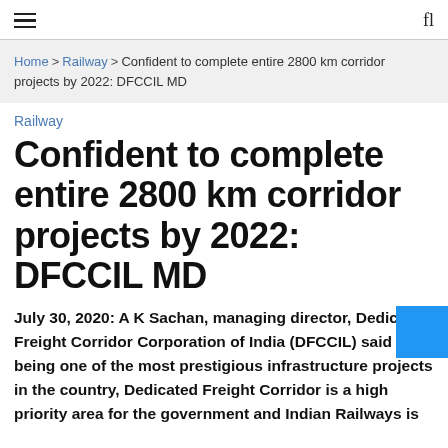≡  fl
Home > Railway > Confident to complete entire 2800 km corridor projects by 2022: DFCCIL MD
Railway
Confident to complete entire 2800 km corridor projects by 2022: DFCCIL MD
July 30, 2020: A K Sachan, managing director, Dedicated Freight Corridor Corporation of India (DFCCIL) said that being one of the most prestigious infrastructure projects in the country, Dedicated Freight Corridor is a high priority area for the government and Indian Railways is